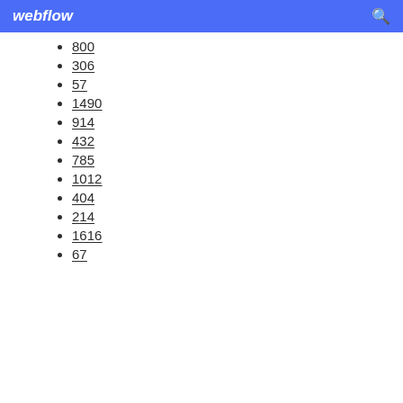webflow
800
306
57
1490
914
432
785
1012
404
214
1616
67